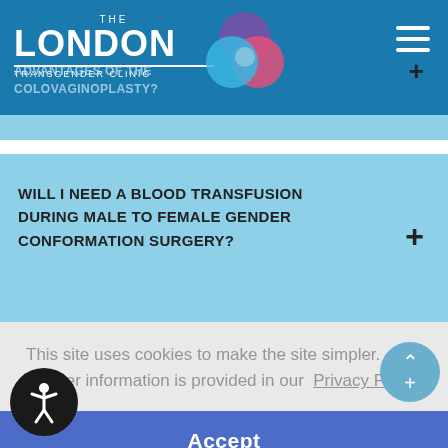[Figure (logo): The London Transgender Clinic logo with circular overlapping color icon]
ADVANTAGES OF THE COLOVAGINOPLASTY?
WILL I NEED A BLOOD TRANSFUSION DURING MALE TO FEMALE GENDER CONFORMATION SURGERY?
This site uses cookies to make the site simpler. Further information is provided in our Privacy Policy
Accept
SURGERY?